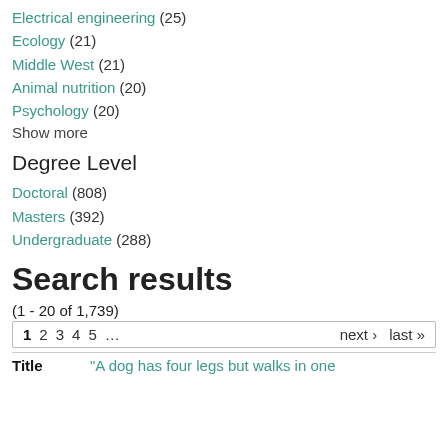Electrical engineering (25)
Ecology (21)
Middle West (21)
Animal nutrition (20)
Psychology (20)
Show more
Degree Level
Doctoral (808)
Masters (392)
Undergraduate (288)
Search results
(1 - 20 of 1,739)
1 2 3 4 5 … next › last »
Title    "A dog has four legs but walks in one